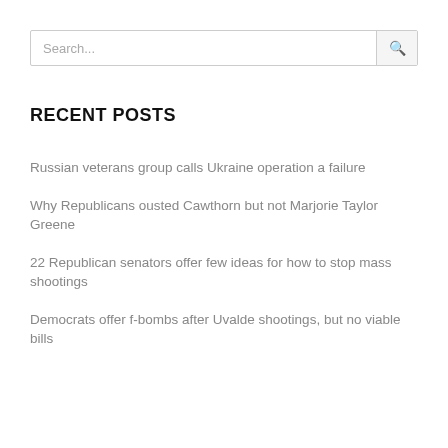Search...
RECENT POSTS
Russian veterans group calls Ukraine operation a failure
Why Republicans ousted Cawthorn but not Marjorie Taylor Greene
22 Republican senators offer few ideas for how to stop mass shootings
Democrats offer f-bombs after Uvalde shootings, but no viable bills